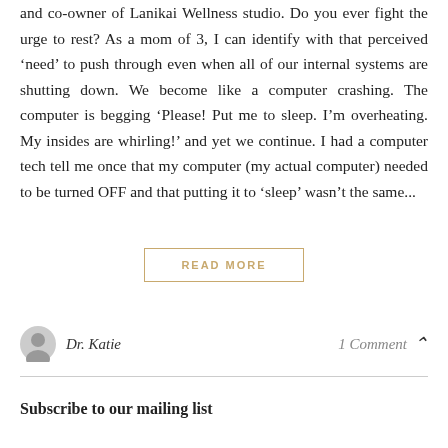and co-owner of Lanikai Wellness studio. Do you ever fight the urge to rest? As a mom of 3, I can identify with that perceived ‘need’ to push through even when all of our internal systems are shutting down. We become like a computer crashing. The computer is begging ‘Please! Put me to sleep. I’m overheating. My insides are whirling!’ and yet we continue. I had a computer tech tell me once that my computer (my actual computer) needed to be turned OFF and that putting it to ‘sleep’ wasn’t the same...
READ MORE
Dr. Katie
1 Comment
Subscribe to our mailing list